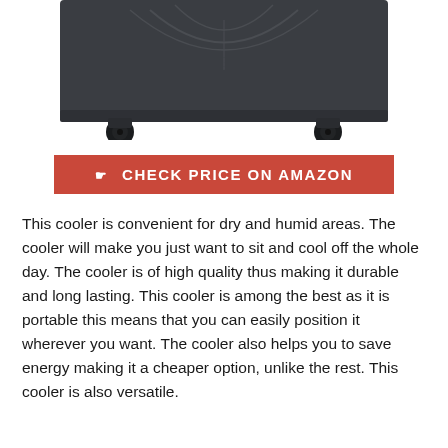[Figure (photo): Bottom portion of a dark grey/charcoal evaporative air cooler appliance on wheels, showing the base with caster wheels and decorative arc patterns on the top panel.]
☛  CHECK PRICE ON AMAZON
This cooler is convenient for dry and humid areas. The cooler will make you just want to sit and cool off the whole day. The cooler is of high quality thus making it durable and long lasting. This cooler is among the best as it is portable this means that you can easily position it wherever you want. The cooler also helps you to save energy making it a cheaper option, unlike the rest. This cooler is also versatile.